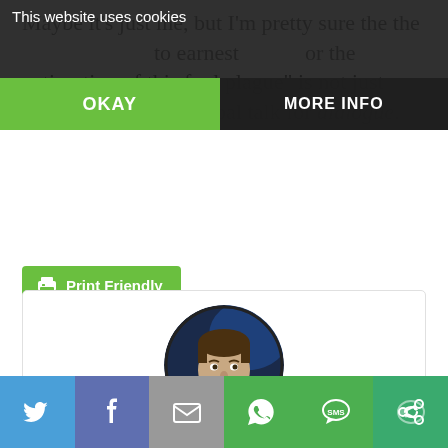Maybe it's just me, but I'm pretty sure the the ... to earnest ... for the extirpation of this foul plague” is not just fancy 19th-century papal talk for dialogue.
[Figure (screenshot): Cookie consent banner overlay with OKAY and MORE INFO buttons on dark semi-transparent background]
[Figure (illustration): Green Print Friendly button with printer icon]
[Figure (photo): Circular headshot photo of Steve Skojec, a man with a beard wearing a suit and tie, against a blurred studio background]
Steve Skojec
[Figure (infographic): Social sharing bar at the bottom with Twitter, Facebook, Email, WhatsApp, SMS, and another share button icons]